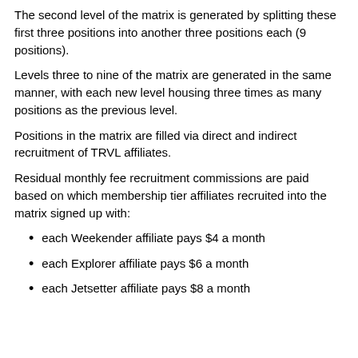The second level of the matrix is generated by splitting these first three positions into another three positions each (9 positions).
Levels three to nine of the matrix are generated in the same manner, with each new level housing three times as many positions as the previous level.
Positions in the matrix are filled via direct and indirect recruitment of TRVL affiliates.
Residual monthly fee recruitment commissions are paid based on which membership tier affiliates recruited into the matrix signed up with:
each Weekender affiliate pays $4 a month
each Explorer affiliate pays $6 a month
each Jetsetter affiliate pays $8 a month